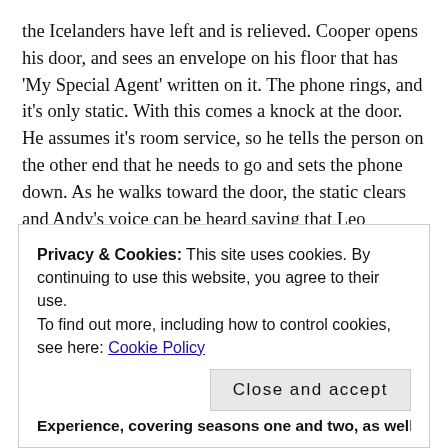the Icelanders have left and is relieved. Cooper opens his door, and sees an envelope on his floor that has 'My Special Agent' written on it. The phone rings, and it's only static. With this comes a knock at the door. He assumes it's room service, so he tells the person on the other end that he needs to go and sets the phone down. As he walks toward the door, the static clears and Andy's voice can be heard saying that Leo Johnson has been found and was shot. When Cooper opens the door, he looks up and is shot three times in the chest by a gloved hand. Roll Credits.
Privacy & Cookies: This site uses cookies. By continuing to use this website, you agree to their use.
To find out more, including how to control cookies, see here: Cookie Policy
Close and accept
Experience, covering seasons one and two, as well as the